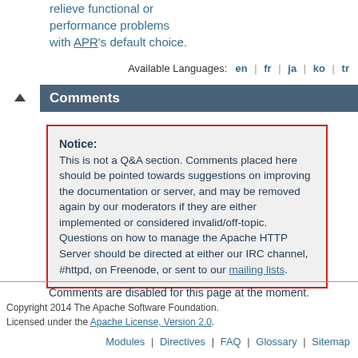relieve functional or performance problems with APR's default choice.
Available Languages: en | fr | ja | ko | tr
Comments
Notice:
This is not a Q&A section. Comments placed here should be pointed towards suggestions on improving the documentation or server, and may be removed again by our moderators if they are either implemented or considered invalid/off-topic. Questions on how to manage the Apache HTTP Server should be directed at either our IRC channel, #httpd, on Freenode, or sent to our mailing lists.
Comments are disabled for this page at the moment.
Copyright 2014 The Apache Software Foundation.
Licensed under the Apache License, Version 2.0.
Modules | Directives | FAQ | Glossary | Sitemap